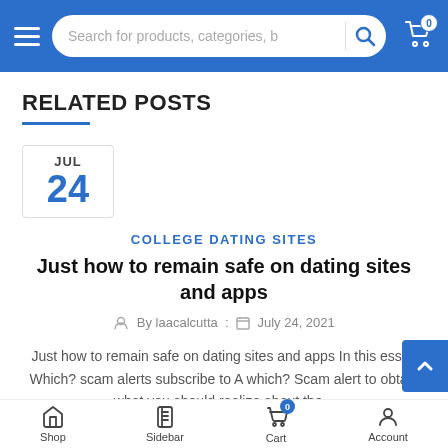Search for products, categories, b
RELATED POSTS
JUL 24
COLLEGE DATING SITES
Just how to remain safe on dating sites and apps
By laacalcutta : July 24, 2021
Just how to remain safe on dating sites and apps In this essay Which? scam alerts subscribe to A which? Scam alert to obtain what you should realize about the...
Shop   Sidebar   Cart   Account